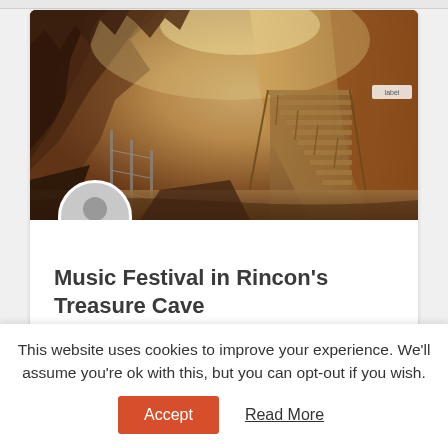[Figure (photo): Interior of a cave with warm orange-brown rock formations, wooden stairways and walkways visible inside the cave chamber. Lighting illuminates the cave walls.]
[Figure (illustration): User avatar placeholder icon — circular grey silhouette of a person]
Music Festival in Rincon's Treasure Cave
This website uses cookies to improve your experience. We'll assume you're ok with this, but you can opt-out if you wish.
Accept
Read More